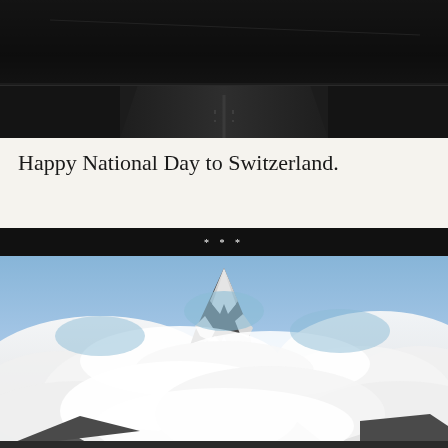[Figure (photo): Dark nighttime road photograph, showing a highway or road at night with minimal lighting, very dark scene with some road markings visible]
Happy National Day to Switzerland.
[Figure (photo): Photograph of the Matterhorn mountain peak in Switzerland, surrounded by white clouds, snow-capped rocky peak visible against a blue sky, with misty clouds wrapping around the mountain]